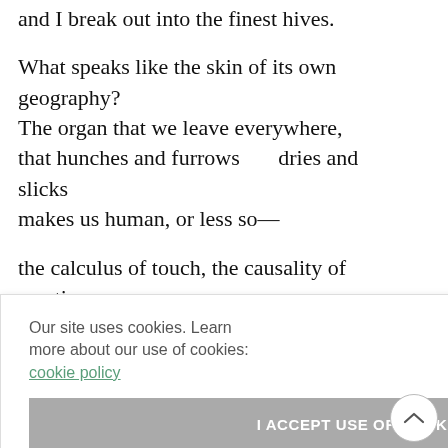and I break out into the finest hives.

What speaks like the skin of its own geography?
The organ that we leave everywhere,
that hunches and furrows      dries and slicks
makes us human, or less so—

the calculus of touch, the causality of reaction.
That burns and prickles,

that renders invisible

[fruit
[t the tap
[e authentic,
[out
indulgence,
Our site uses cookies. Learn more about our use of cookies: cookie policy
I ACCEPT USE OF COOKIES